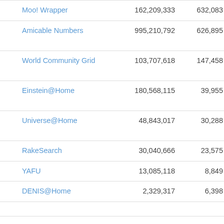| Moo! Wrapper | 162,209,333 | 632,083 | 1 Jan 2013 |
| Amicable Numbers | 995,210,792 | 626,895 | 24 Jan 2017 |
| World Community Grid | 103,707,618 | 147,458 | 14 Oct 2009 |
| Einstein@Home | 180,568,115 | 39,955 | 18 Sep 2010 |
| Universe@Home | 48,843,017 | 30,288 | 20 Feb 2015 |
| RakeSearch | 30,040,666 | 23,575 | 8 Sep 2017 |
| YAFU | 13,085,118 | 8,849 | 4 Jan 2013 |
| DENIS@Home | 2,329,317 | 6,398 | 9 Apr 2015 |